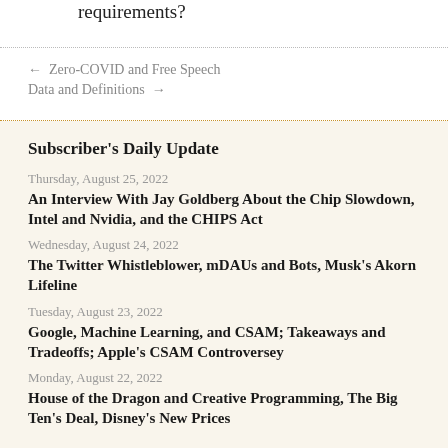requirements?
← Zero-COVID and Free Speech
Data and Definitions →
Subscriber's Daily Update
Thursday, August 25, 2022
An Interview With Jay Goldberg About the Chip Slowdown, Intel and Nvidia, and the CHIPS Act
Wednesday, August 24, 2022
The Twitter Whistleblower, mDAUs and Bots, Musk's Akorn Lifeline
Tuesday, August 23, 2022
Google, Machine Learning, and CSAM; Takeaways and Tradeoffs; Apple's CSAM Controversey
Monday, August 22, 2022
House of the Dragon and Creative Programming, The Big Ten's Deal, Disney's New Prices